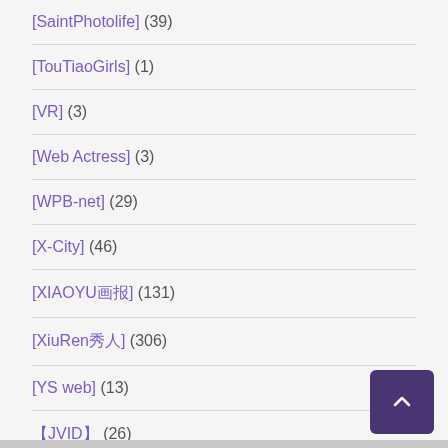[SaintPhotolife] (39)
[TouTiaoGirls] (1)
[VR] (3)
[Web Actress] (3)
[WPB-net] (29)
[X-City] (46)
[XIAOYU画报] (131)
[XiuRen秀人] (306)
[YS web] (13)
【JVID】 (26)
Uncategorized (78)